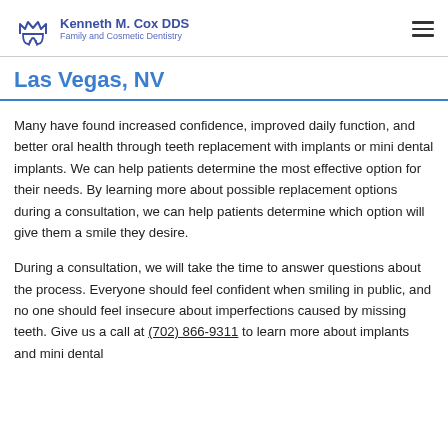Kenneth M. Cox DDS Family and Cosmetic Dentistry
Las Vegas, NV
Many have found increased confidence, improved daily function, and better oral health through teeth replacement with implants or mini dental implants. We can help patients determine the most effective option for their needs. By learning more about possible replacement options during a consultation, we can help patients determine which option will give them a smile they desire.
During a consultation, we will take the time to answer questions about the process. Everyone should feel confident when smiling in public, and no one should feel insecure about imperfections caused by missing teeth. Give us a call at (702) 866-9311 to learn more about implants and mini dental